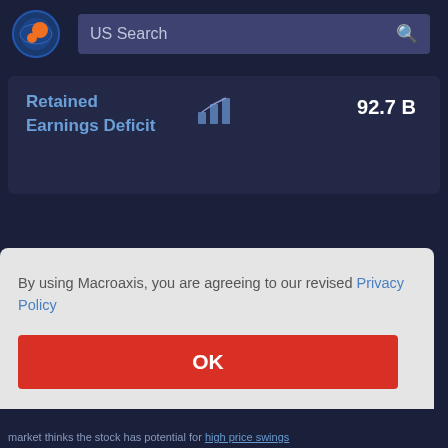[Figure (logo): Macroaxis circular logo with orange and blue globe icon]
US Search
Retained Earnings Deficit
92.7 B
By using Macroaxis, you are agreeing to our revised Privacy Policy
OK
timent
e.
its
gh, the
wings